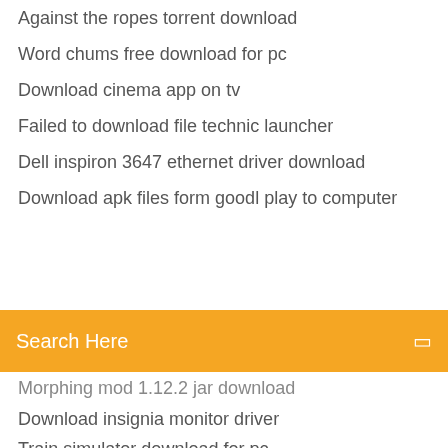Against the ropes torrent download
Word chums free download for pc
Download cinema app on tv
Failed to download file technic launcher
Dell inspiron 3647 ethernet driver download
Download apk files form goodl play to computer
[Figure (screenshot): Orange search bar with text 'Search Here' and a search icon on the right]
Morphing mod 1.12.2 jar download
Download insignia monitor driver
Train simulator download for pc
Freehand mx full version free download
How to download large jpg from twitter
Download images and rename file name using python
Download appstarter apk for firestick
Date a vampire volume 1 pdf download
Apps to download youtube mp3
Mirzapur tv series torrent download
Download speed fast but files download slow